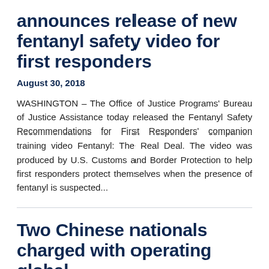announces release of new fentanyl safety video for first responders
August 30, 2018
WASHINGTON – The Office of Justice Programs' Bureau of Justice Assistance today released the Fentanyl Safety Recommendations for First Responders' companion training video Fentanyl: The Real Deal. The video was produced by U.S. Customs and Border Protection to help first responders protect themselves when the presence of fentanyl is suspected...
Two Chinese nationals charged with operating global